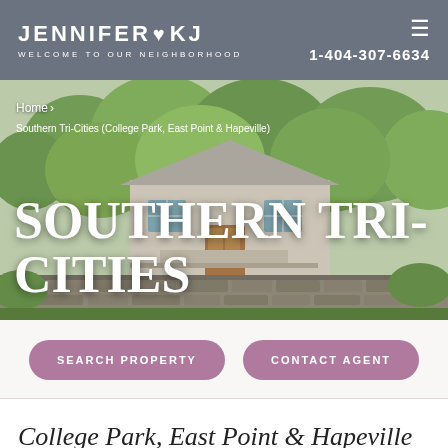JENNIFER ♥ KJ | WELCOME TO OUR NEIGHBORHOOD | 1-404-307-6634
[Figure (photo): Exterior photo of a house with trees, stone wall, and lush greenery in the background. Breadcrumb navigation overlaid: Home > Southern Tri-Cities (College Park, East Point & Hapeville). Large bold text overlay reads SOUTHERN TRI-CITIES.]
SEARCH PROPERTY
CONTACT AGENT
College Park, East Point & Hapeville